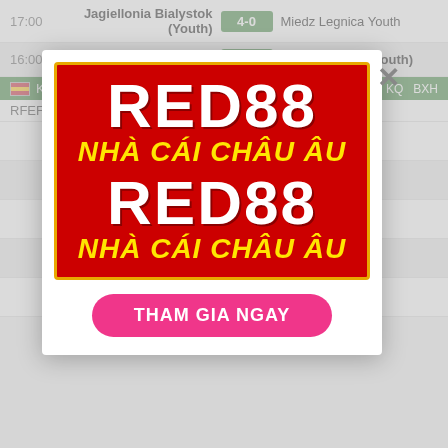17:00  Jagiellonia Bialystok (Youth)  4-0  Miedz Legnica Youth
16:00  Polonia Warszawa (Youth)  1-2  Wisla Krakow (Youth)
Kết quả bóng đá Spain Primera Division  Lich  KQ  BXH
RFEF
[Figure (advertisement): RED88 advertisement banner with red background and gold border. Large white bold text 'RED88', yellow italic bold text 'NHÀ CÁI CHÂU ÂU', repeated twice. Pink CTA button 'THAM GIA NGAY'.]
THAM GIA NGAY